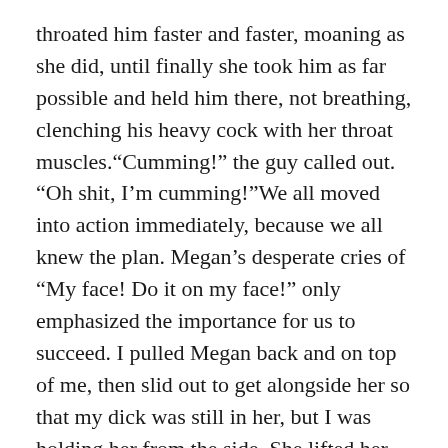throated him faster and faster, moaning as she did, until finally she took him as far possible and held him there, not breathing, clenching his heavy cock with her throat muscles.“Cumming!” the guy called out. “Oh shit, I’m cumming!”We all moved into action immediately, because we all knew the plan. Megan’s desperate cries of “My face! Do it on my face!” only emphasized the importance for us to succeed. I pulled Megan back and on top of me, then slid out to get alongside her so that my dick was still in her, but I was holding her from the side. She lifted her thigh to allow me to fit there, and I hugged it, still fucking her, as the guy jumped on top. He straddled Megan’s face, reaching it just in time. His cum squirted a thick, unbroken line of white from her chin, across her lips, over her nose